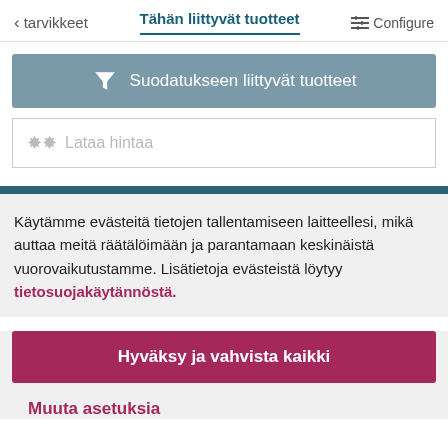< tarvikkeet   Tähän liittyvät tuotteet   Configure
[Figure (screenshot): Filter button with funnel icon and text 'Suodatukseen liittyvät tuotteet' on a grey-blue background]
Lataa hintaa
Käytämme evästeitä tietojen tallentamiseen laitteellesi, mikä auttaa meitä räätälöimään ja parantamaan keskinäistä vuorovaikutustamme. Lisätietoja evästeistä löytyy tietosuojakäytännöstä.
Hyväksy ja vahvista kaikki
Muuta asetuksia